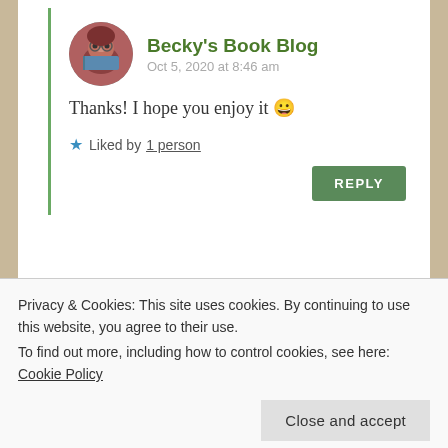Becky's Book Blog
Oct 5, 2020 at 8:46 am
Thanks! I hope you enjoy it 😀
Liked by 1 person
REPLY
Joanna @ TheGeekishBrunette
Oct 5, 2020 at 1:31 pm
Privacy & Cookies: This site uses cookies. By continuing to use this website, you agree to their use.
To find out more, including how to control cookies, see here: Cookie Policy
Close and accept